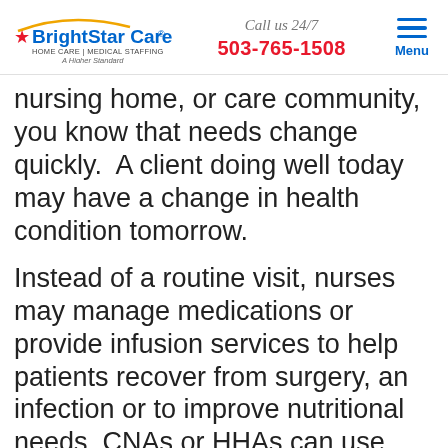BrightStar Care HOME CARE | MEDICAL STAFFING A Higher Standard | Call us 24/7 503-765-1508 | Menu
nursing home, or care community, you know that needs change quickly.  A client doing well today may have a change in health condition tomorrow.
Instead of a routine visit, nurses may manage medications or provide infusion services to help patients recover from surgery, an infection or to improve nutritional needs. CNAs or HHAs can use their creative skills with clients interested in exercise or social activities. Clients